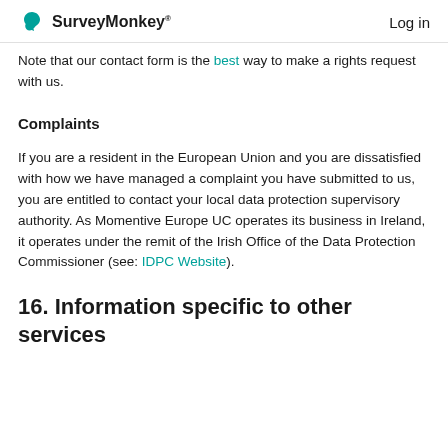SurveyMonkey | Log in
Note that our contact form is the best way to make a rights request with us.
Complaints
If you are a resident in the European Union and you are dissatisfied with how we have managed a complaint you have submitted to us, you are entitled to contact your local data protection supervisory authority. As Momentive Europe UC operates its business in Ireland, it operates under the remit of the Irish Office of the Data Protection Commissioner (see: IDPC Website).
16. Information specific to other services